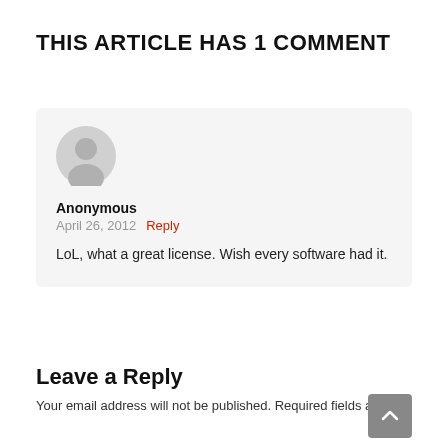THIS ARTICLE HAS 1 COMMENT
Anonymous
April 26, 2012  Reply
LoL, what a great license. Wish every software had it.
Leave a Reply
Your email address will not be published. Required fields are